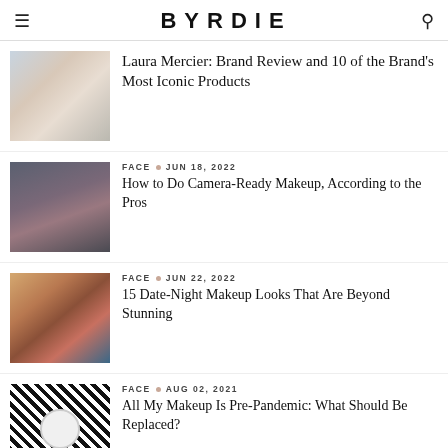BYRDIE
Laura Mercier: Brand Review and 10 of the Brand's Most Iconic Products
FACE · JUN 18, 2022
How to Do Camera-Ready Makeup, According to the Pros
FACE · JUN 22, 2022
15 Date-Night Makeup Looks That Are Beyond Stunning
FACE · AUG 02, 2021
All My Makeup Is Pre-Pandemic: What Should Be Replaced?